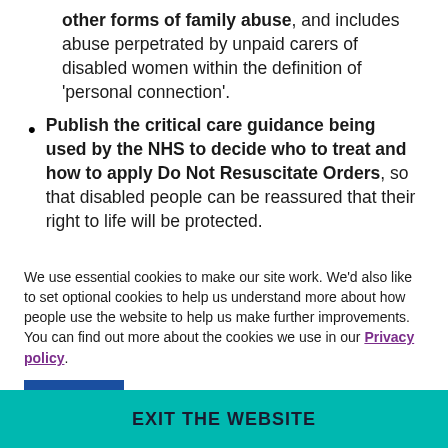other forms of family abuse, and includes abuse perpetrated by unpaid carers of disabled women within the definition of 'personal connection'.
Publish the critical care guidance being used by the NHS to decide who to treat and how to apply Do Not Resuscitate Orders, so that disabled people can be reassured that their right to life will be protected.
Repeal the measures in the Coronavirus Act that temporarily suspends duties in the Care Act and
We use essential cookies to make our site work. We'd also like to set optional cookies to help us understand more about how people use the website to help us make further improvements. You can find out more about the cookies we use in our Privacy policy.
EXIT THE WEBSITE